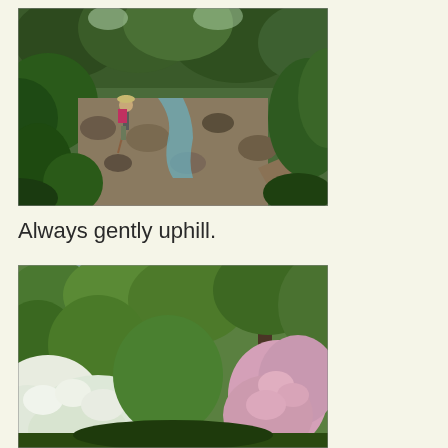[Figure (photo): A hiker with a red backpack and walking stick stands near a rocky creek bed surrounded by dense green forest vegetation and trees.]
Always gently uphill.
[Figure (photo): A lush green forest scene with tall trees, white flowering shrubs in the foreground, and pink rhododendron blooms visible on the right side.]